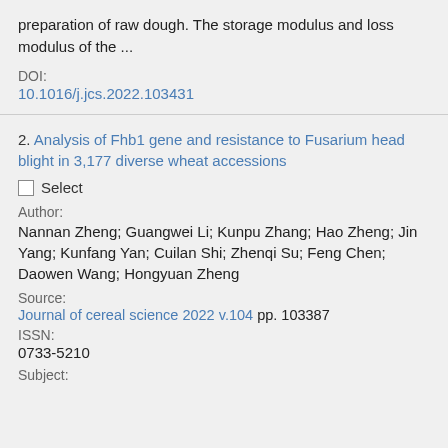preparation of raw dough. The storage modulus and loss modulus of the ...
DOI:
10.1016/j.jcs.2022.103431
2. Analysis of Fhb1 gene and resistance to Fusarium head blight in 3,177 diverse wheat accessions
Select
Author:
Nannan Zheng; Guangwei Li; Kunpu Zhang; Hao Zheng; Jin Yang; Kunfang Yan; Cuilan Shi; Zhenqi Su; Feng Chen; Daowen Wang; Hongyuan Zheng
Source:
Journal of cereal science 2022 v.104 pp. 103387
ISSN:
0733-5210
Subject: